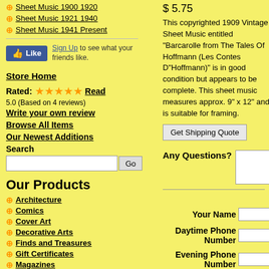Sheet Music 1900 1920
Sheet Music 1921 1940
Sheet Music 1941 Present
[Figure (other): Facebook Like button widget with 'Sign Up to see what your friends like.']
Store Home
Rated: ★★★★★ Read
5.0 (Based on 4 reviews)
Write your own review
Browse All Items
Our Newest Additions
Search
Our Products
Architecture
Comics
Cover Art
Decorative Arts
Finds and Treasures
Gift Certificates
Magazines
Military
$ 5.75
This copyrighted 1909 Vintage Sheet Music entitled "Barcarolle from The Tales Of Hoffmann (Les Contes D"Hoffmann)" is in good condition but appears to be complete. This sheet music measures approx. 9" x 12" and is suitable for framing.
Get Shipping Quote
Any Questions?
Your Name
Daytime Phone Number
Evening Phone Number